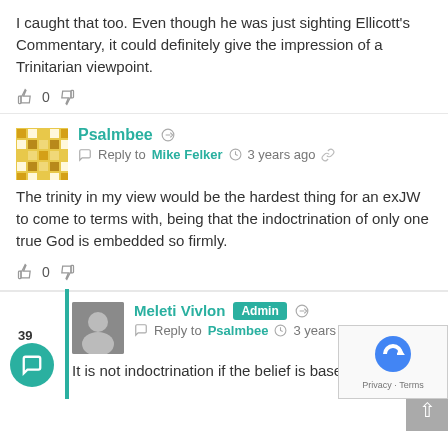I caught that too. Even though he was just sighting Ellicott's Commentary, it could definitely give the impression of a Trinitarian viewpoint.
0
Psalmbee
Reply to Mike Felker  3 years ago
The trinity in my view would be the hardest thing for an exJW to come to terms with, being that the indoctrination of only one true God is embedded so firmly.
0
Meleti Vivlon
Admin
Reply to Psalmbee  3 years ago
It is not indoctrination if the belief is based